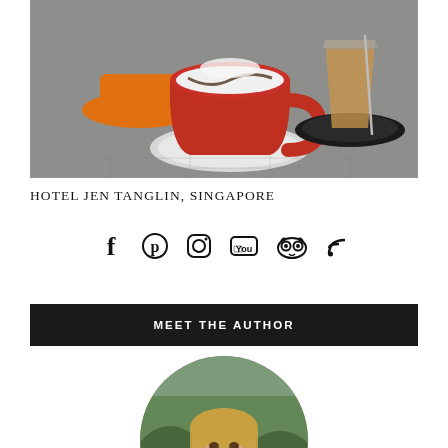[Figure (photo): Photo of coffee cups on saucers: a red cup with latte art in the foreground, an orange cup behind it to the left, and a glass of iced coffee on a black saucer to the right, all on a grey surface.]
HOTEL JEN TANGLIN, SINGAPORE
[Figure (other): Row of social media icons: Facebook, Pinterest, Instagram, YouTube, TripAdvisor, RSS feed.]
MEET THE AUTHOR
[Figure (photo): Circular portrait photo of a young woman with long blonde hair, outdoors with greenery in the background.]